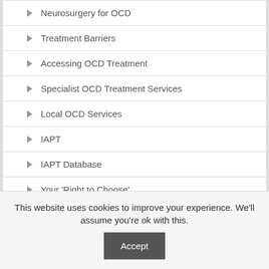Neurosurgery for OCD
Treatment Barriers
Accessing OCD Treatment
Specialist OCD Treatment Services
Local OCD Services
IAPT
IAPT Database
Your 'Right to Choose'
Preparing for OCD Therapy
Getting the most from therapy
This website uses cookies to improve your experience. We'll assume you're ok with this. Accept